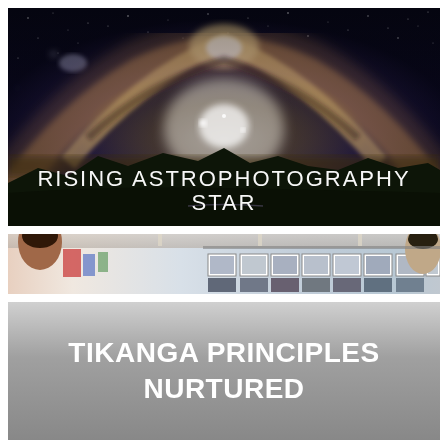[Figure (photo): Panoramic astrophotography image showing the Milky Way arching over a dark landscape with mountains, stars, and bright celestial objects. White text overlay reads 'RISING ASTROPHOTOGRAPHY STAR'.]
[Figure (photo): Wide horizontal strip photograph showing people viewing framed photographs/artwork displayed on a wall in an exhibition or gallery space.]
[Figure (photo): Grey gradient background panel with white bold text reading 'TIKANGA PRINCIPLES NURTURED'.]